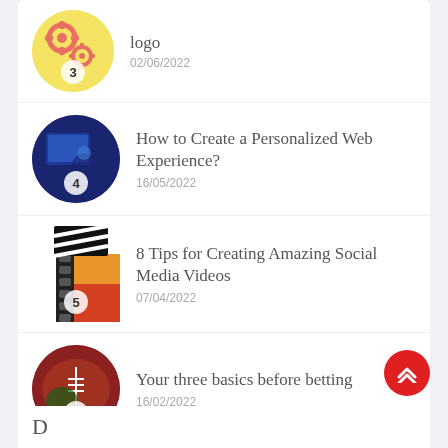logo
02/06/2022
How to Create a Personalized Web Experience?
16/05/2022
8 Tips for Creating Amazing Social Media Videos
07/04/2022
Your three basics before betting
16/02/2022
[Figure (illustration): Red circular back-to-top button with upward chevrons]
D...